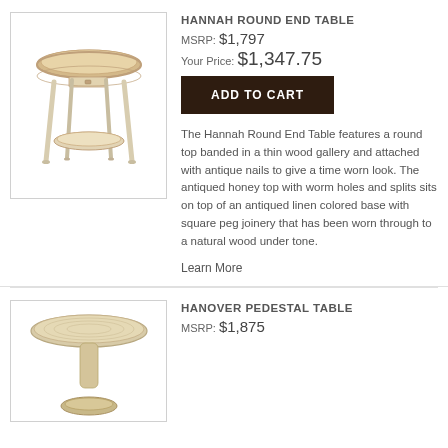[Figure (photo): Hannah Round End Table - white/linen colored round end table with antiqued honey top, thin wood gallery banding, square peg joinery legs, and lower shelf]
HANNAH ROUND END TABLE
MSRP: $1,797
Your Price: $1,347.75
ADD TO CART
The Hannah Round End Table features a round top banded in a thin wood gallery and attached with antique nails to give a time worn look. The antiqued honey top with worm holes and splits sits on top of an antiqued linen colored base with square peg joinery that has been worn through to a natural wood under tone.
Learn More
[Figure (photo): Hanover Pedestal Table - round top pedestal table with textured/woven surface, cream/natural finish]
HANOVER PEDESTAL TABLE
MSRP: $1,875